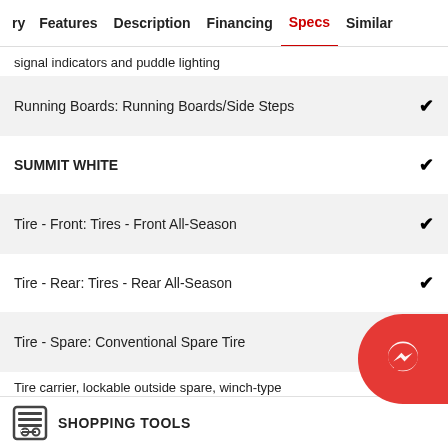ry   Features   Description   Financing   Specs   Similar
signal indicators and puddle lighting
Running Boards: Running Boards/Side Steps ✓
SUMMIT WHITE ✓
Tire - Front: Tires - Front All-Season ✓
Tire - Rear: Tires - Rear All-Season ✓
Tire - Spare: Conventional Spare Tire ✓
Tire carrier, lockable outside spare, winch-type
SHOPPING TOOLS